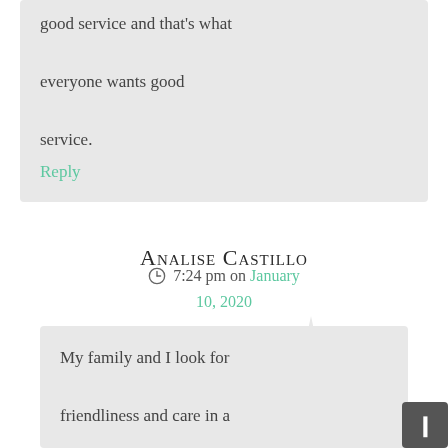good service and that's what everyone wants good service.
Reply
Analise Castillo
7:24 pm on January 10, 2020
My family and I look for friendliness and care in a moving company. When my